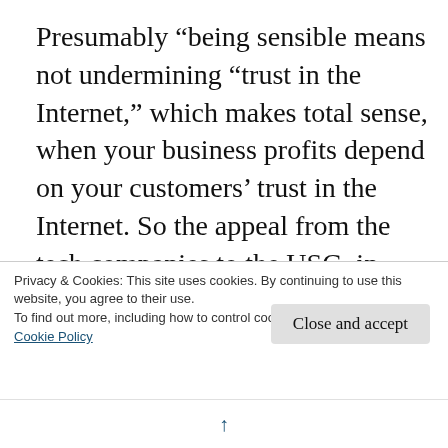Presumably “being sensible means not undermining “trust in the Internet,” which makes total sense, when your business profits depend on your customers’ trust in the Internet. So the appeal from the tech companies to the USG, in essence, is to continue their collaboration with the corporations to mine and acquire as much data as possible, but to be less obtrusive, less extreme, less confrontational about it. One way
Privacy & Cookies: This site uses cookies. By continuing to use this website, you agree to their use.
To find out more, including how to control cookies, see here:
Cookie Policy
Close and accept